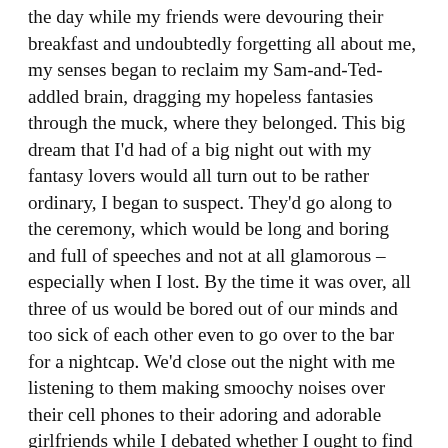the day while my friends were devouring their breakfast and undoubtedly forgetting all about me, my senses began to reclaim my Sam-and-Ted-addled brain, dragging my hopeless fantasies through the muck, where they belonged. This big dream that I'd had of a big night out with my fantasy lovers would all turn out to be rather ordinary, I began to suspect. They'd go along to the ceremony, which would be long and boring and full of speeches and not at all glamorous – especially when I lost. By the time it was over, all three of us would be bored out of our minds and too sick of each other even to go over to the bar for a nightcap. We'd close out the night with me listening to them making smoochy noises over their cell phones to their adoring and adorable girlfriends while I debated whether I ought to find a man who was even older and more desperate than I was to spend the night with me so I wouldn't have to cry myself sadly to sleep. Except I'd be too depressed even to do that, so I'd go sit by myself at a slot machine in the corner of some dirty casino and gamble my money away on one of those newfangled penny slots,